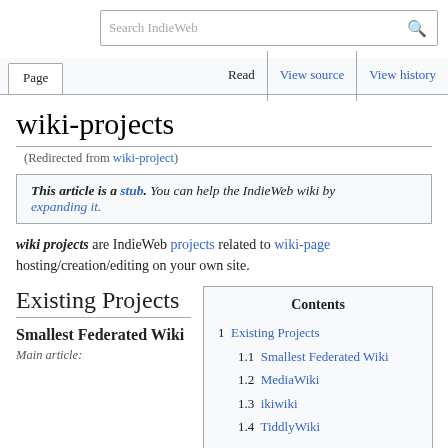Search IndieWeb | Page | Read | View source | View history
wiki-projects
(Redirected from wiki-project)
This article is a stub. You can help the IndieWeb wiki by expanding it.
wiki projects are IndieWeb projects related to wiki-page hosting/creation/editing on your own site.
Existing Projects
Smallest Federated Wiki
Main article:
| Contents |
| --- |
| 1 Existing Projects |
| 1.1 Smallest Federated Wiki |
| 1.2 MediaWiki |
| 1.3 ikiwiki |
| 1.4 TiddlyWiki |